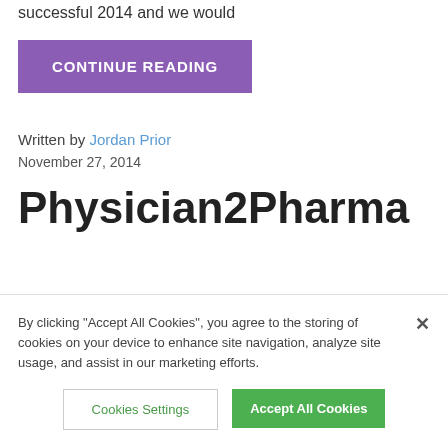successful 2014 and we would
CONTINUE READING
Written by Jordan Prior
November 27, 2014
Physician2Pharma
By clicking "Accept All Cookies", you agree to the storing of cookies on your device to enhance site navigation, analyze site usage, and assist in our marketing efforts.
Cookies Settings
Accept All Cookies